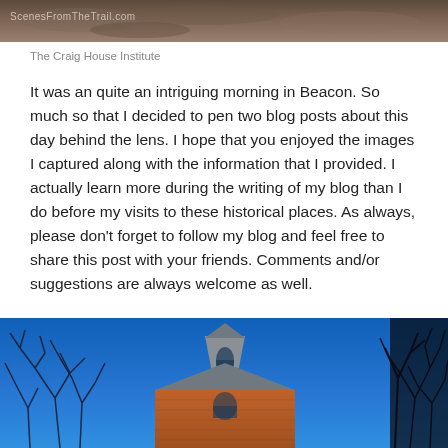[Figure (photo): Top banner photo with ScenesFromTheTrail.com watermark, showing rocky terrain in warm brown tones]
The Craig House Institute
It was an quite an intriguing morning in Beacon. So much so that I decided to pen two blog posts about this day behind the lens. I hope that you enjoyed the images I captured along with the information that I provided. I actually learn more during the writing of my blog than I do before my visits to these historical places. As always, please don't forget to follow my blog and feel free to share this post with your friends. Comments and/or suggestions are always welcome as well.
[Figure (photo): Bottom photo showing a church or chapel with a pointed steeple, brick facade, bare winter trees against a vivid blue sky]